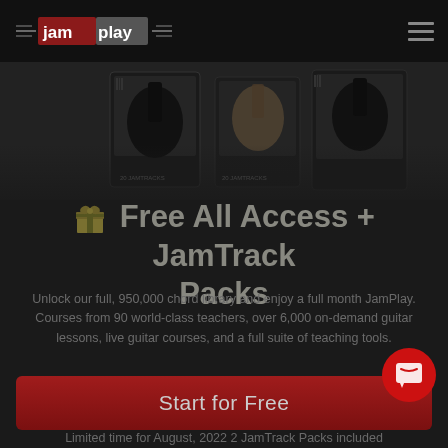JamPlay
[Figure (photo): Dark product shots of JamTrack Packs — physical guitar lesson product boxes with text '20 JAMTRACKS' visible on two packages, displayed on dark background]
🎁 Free All Access + JamTrack Packs
Unlock our full, 950,000 chord library and enjoy a full month JamPlay. Courses from 90 world-class teachers, over 6,000 on-demand guitar lessons, live guitar courses, and a full suite of teaching tools.
Start for Free
Limited time for August, 2022 2 JamTrack Packs included